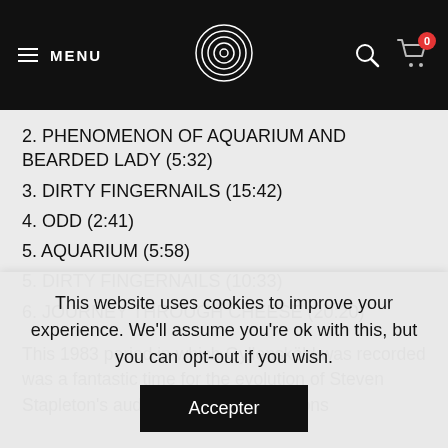≡ MENU [logo] [search] [cart 0]
2. PHENOMENON OF AQUARIUM AND BEARDED LADY (5:32)
3. DIRTY FINGERNAILS (15:42)
4. ODD (2:41)
5. AQUARIUM (5:58)
5. DIRTY FINGERNAILS (10:33)
6. JOURNEY THROUGH CHEESE (20:20)
This 1983 period in which Gyllensköld was recorded was a fantastic time for the evolution of Steven Stapleton's audio art. His collaborations
This website uses cookies to improve your experience. We'll assume you're ok with this, but you can opt-out if you wish.